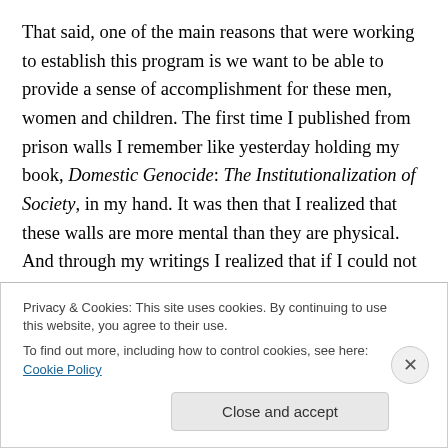That said, one of the main reasons that were working to establish this program is we want to be able to provide a sense of accomplishment for these men, women and children. The first time I published from prison walls I remember like yesterday holding my book, Domestic Genocide: The Institutionalization of Society, in my hand. It was then that I realized that these walls are more mental than they are physical. And through my writings I realized that if I could not be in the world physically, then I could bring the world to me and mend the community with my
Privacy & Cookies: This site uses cookies. By continuing to use this website, you agree to their use.
To find out more, including how to control cookies, see here: Cookie Policy
Close and accept